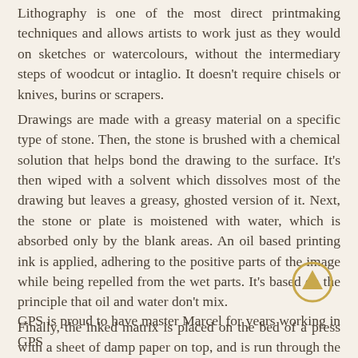Lithography is one of the most direct printmaking techniques and allows artists to work just as they would on sketches or watercolours, without the intermediary steps of woodcut or intaglio. It doesn't require chisels or knives, burins or scrapers.
Drawings are made with a greasy material on a specific type of stone. Then, the stone is brushed with a chemical solution that helps bond the drawing to the surface. It's then wiped with a solvent which dissolves most of the drawing but leaves a greasy, ghosted version of it. Next, the stone or plate is moistened with water, which is absorbed only by the blank areas. An oil based printing ink is applied, adhering to the positive parts of the image while being repelled from the wet parts. It's based on the principle that oil and water don't mix.
Finally, the inked matrix is placed on the bed of a press with a sheet of damp paper on top, and is run through the machine.
GPS is proud to have master Marcel for years working in GPS
[Figure (illustration): A circular scroll-up / back-to-top arrow icon with a golden/tan outline circle and an upward-pointing arrow inside.]